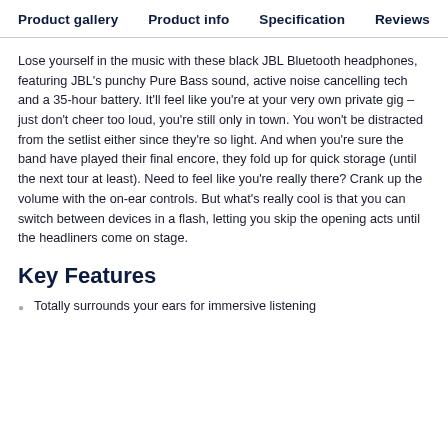Product gallery  Product info  Specification  Reviews
Lose yourself in the music with these black JBL Bluetooth headphones, featuring JBL’s punchy Pure Bass sound, active noise cancelling tech and a 35-hour battery. It’ll feel like you’re at your very own private gig – just don’t cheer too loud, you’re still only in town. You won’t be distracted from the setlist either since they’re so light. And when you’re sure the band have played their final encore, they fold up for quick storage (until the next tour at least). Need to feel like you’re really there? Crank up the volume with the on-ear controls. But what’s really cool is that you can switch between devices in a flash, letting you skip the opening acts until the headliners come on stage.
Key Features
Totally surrounds your ears for immersive listening